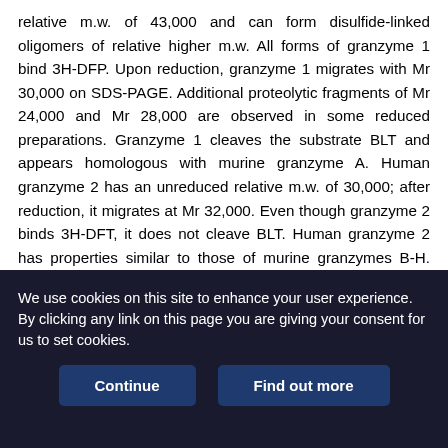relative m.w. of 43,000 and can form disulfide-linked oligomers of relative higher m.w. All forms of granzyme 1 bind 3H-DFP. Upon reduction, granzyme 1 migrates with Mr 30,000 on SDS-PAGE. Additional proteolytic fragments of Mr 24,000 and Mr 28,000 are observed in some reduced preparations. Granzyme 1 cleaves the substrate BLT and appears homologous with murine granzyme A. Human granzyme 2 has an unreduced relative m.w. of 30,000; after reduction, it migrates at Mr 32,000. Even though granzyme 2 binds 3H-DFT, it does not cleave BLT. Human granzyme 2 has properties similar to those of murine granzymes B-H. Human granzyme 3 has unreduced and reduced relative m.w. of 25,000 and 28,000, respectively. It is active in cleaving the substrate BLT. A murine analog for human granzyme 3 has not been described
We use cookies on this site to enhance your user experience. By clicking any link on this page you are giving your consent for us to set cookies.